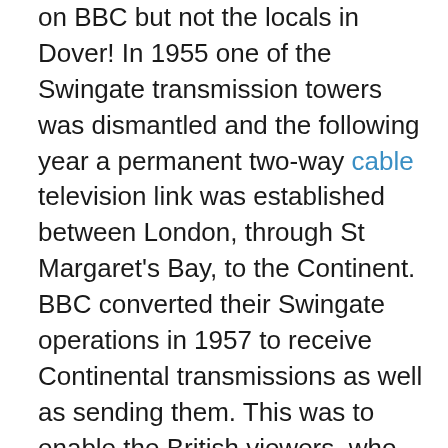on BBC but not the locals in Dover! In 1955 one of the Swingate transmission towers was dismantled and the following year a permanent two-way cable television link was established between London, through St Margaret's Bay, to the Continent. BBC converted their Swingate operations in 1957 to receive Continental transmissions as well as sending them. This was to enable the British viewers, who could get BBC, to see the Queen on a State visit to France and Denmark. In the meantime, the Croydon transmitter was built to broadcast the London ITV signal. After fierce competition, Southern Television won the ITV franchise for the south and southeast of England. They went on air at 17.30 on Saturday 30 August 1958 from their studios in Southampton using a Swingate tower as a relay to Dover.

As the Cold War continued to escalate the RAF opened a